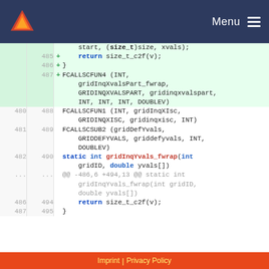Menu
Code diff showing changes to gridInqXvalsPart_fwrap and gridInqYvals_fwrap functions
Imprint | Privacy Policy